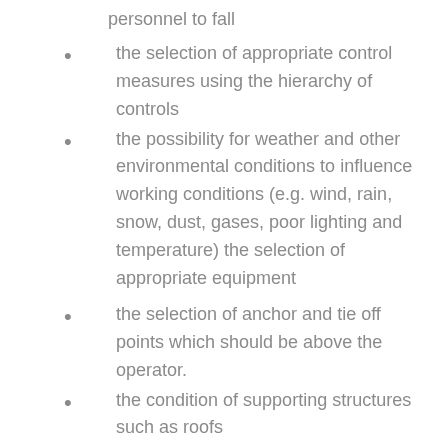personnel to fall
the selection of appropriate control measures using the hierarchy of controls
the possibility for weather and other environmental conditions to influence working conditions (e.g. wind, rain, snow, dust, gases, poor lighting and temperature) the selection of appropriate equipment
the selection of anchor and tie off points which should be above the operator.
the condition of supporting structures such as roofs
the selection of appropriate barricading and/or demarcation